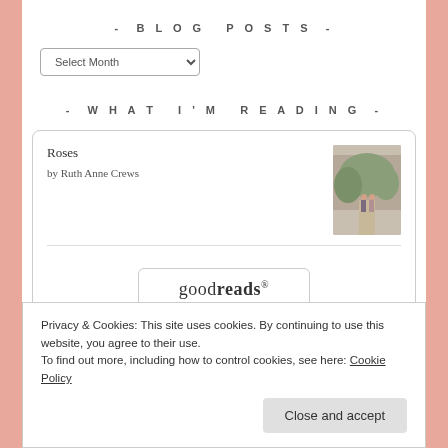- BLOG POSTS -
Select Month
- WHAT I'M READING -
Roses
by Ruth Anne Crews
[Figure (illustration): Book cover for Roses by Ruth Anne Crews showing a couple walking outdoors]
[Figure (logo): goodreads logo inside a rounded rectangle button]
Privacy & Cookies: This site uses cookies. By continuing to use this website, you agree to their use.
To find out more, including how to control cookies, see here: Cookie Policy
Close and accept